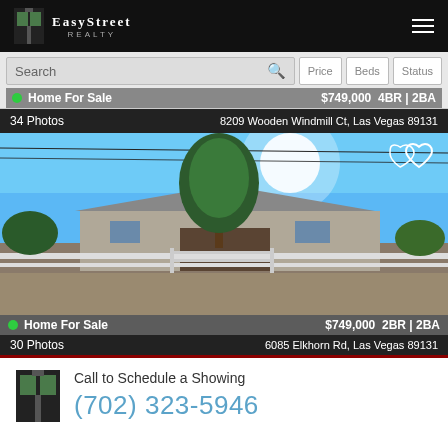[Figure (logo): EasyStreet Realty logo on black header bar with hamburger menu]
Search  Price  Beds  Status
Home For Sale  $749,000  4BR | 2BA
34 Photos  8209 Wooden Windmill Ct, Las Vegas 89131
[Figure (photo): Exterior photo of single-story home with large tree, blue sky, white fence and gate, desert landscaping]
Home For Sale  $749,000  2BR | 2BA
30 Photos  6085 Elkhorn Rd, Las Vegas 89131
Call to Schedule a Showing
(702) 323-5946